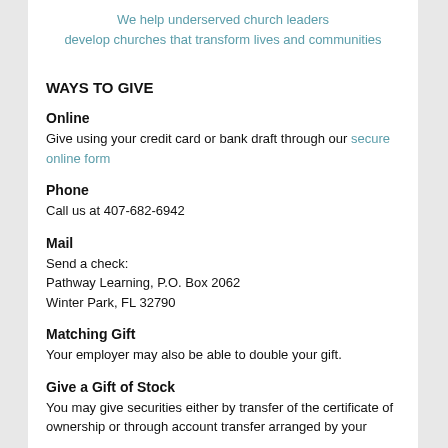We help underserved church leaders develop churches that transform lives and communities
WAYS TO GIVE
Online
Give using your credit card or bank draft through our secure online form
Phone
Call us at 407-682-6942
Mail
Send a check:
Pathway Learning, P.O. Box 2062
Winter Park, FL 32790
Matching Gift
Your employer may also be able to double your gift.
Give a Gift of Stock
You may give securities either by transfer of the certificate of ownership or through account transfer arranged by your